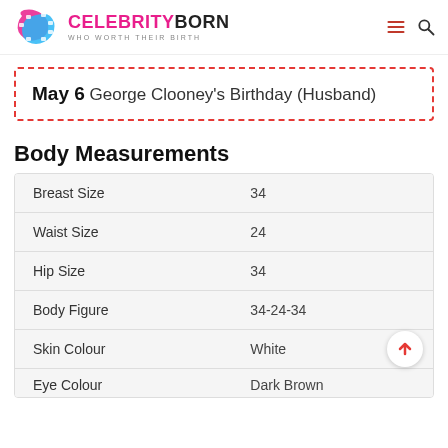CELEBRITYBORN — WHO WORTH THEIR BIRTH
May 6 George Clooney's Birthday (Husband)
Body Measurements
|  |  |
| --- | --- |
| Breast Size | 34 |
| Waist Size | 24 |
| Hip Size | 34 |
| Body Figure | 34-24-34 |
| Skin Colour | White |
| Eye Colour | Dark Brown |